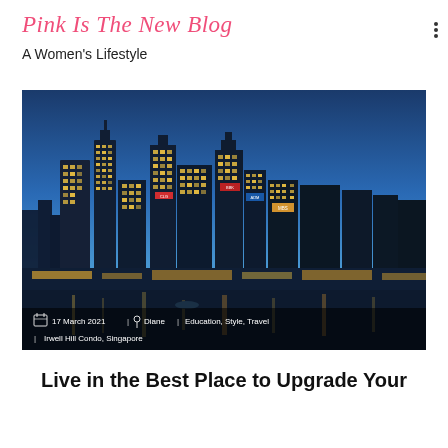Pink Is The New Blog — A Women's Lifestyle
[Figure (photo): Night cityscape of Singapore's financial district with illuminated skyscrapers reflected in water, with overlay text: 17 March 2021 | Diane | Education, Style, Travel | Irwell Hill Condo, Singapore]
Live in the Best Place to Upgrade Your